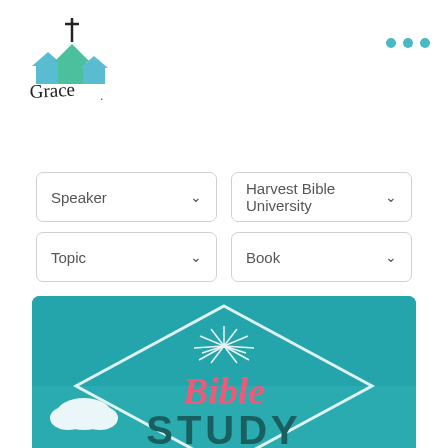[Figure (logo): Grace church logo with cross, teal house icons, and handwritten 'Grace' text below]
[Figure (infographic): Three teal dots menu icon in top right]
Speaker (dropdown)
Harvest Bible University (dropdown)
Topic (dropdown)
Book (dropdown)
[Figure (illustration): Teal background Bible Study graphic with a diamond road-sign shape, sunburst lines, clouds, and the text 'Bible STUDY' in pink and dark teal letters]